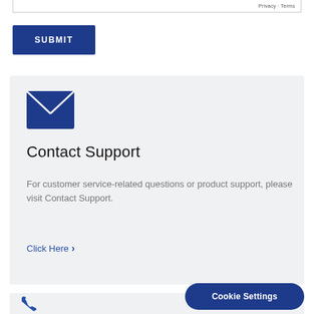Privacy · Terms
SUBMIT
[Figure (illustration): Blue envelope icon representing contact/email support]
Contact Support
For customer service-related questions or product support, please visit Contact Support.
Click Here >
[Figure (illustration): Blue phone/telephone icon]
Cookie Settings